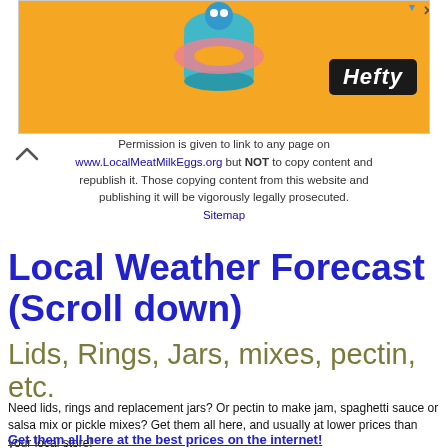[Figure (illustration): Hefty brand orange advertisement banner with cartoon characters (colorful toy/inflatable figures) and Hefty logo badge in bottom right corner]
Permission is given to link to any page on www.LocalMeatMilkEggs.org but NOT to copy content and republish it. Those copying content from this website and publishing it will be vigorously legally prosecuted. Sitemap
Local Weather Forecast (Scroll down)
Lids, Rings, Jars, mixes, pectin, etc.
Need lids, rings and replacement jars?  Or pectin to make jam, spaghetti sauce or salsa mix or pickle mixes?  Get them all here, and usually at lower prices than your local store!
Get them all here at the best prices on the internet!